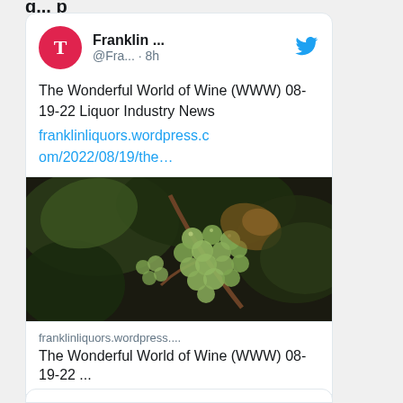[Figure (screenshot): Twitter/social media post by Franklin... (@Fra...) posted 8 hours ago. Tweet text: 'The Wonderful World of Wine (WWW) 08-19-22 Liquor Industry News' with link franklinliquors.wordpress.com/2022/08/19/the... An image of green grapes on a vine is embedded. Below the image is a link preview card showing the domain 'franklinliquors.wordpress....' and title 'The Wonderful World of Wine (WWW) 08-19-22 ...'. At the bottom are comment and like icons.]